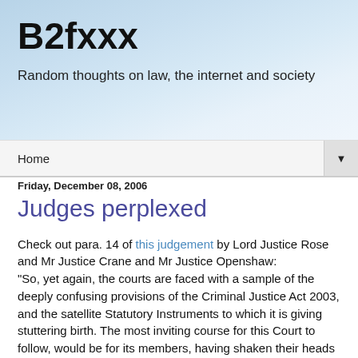B2fxxx
Random thoughts on law, the internet and society
Home ▼
Friday, December 08, 2006
Judges perplexed
Check out para. 14 of this judgement by Lord Justice Rose and Mr Justice Crane and Mr Justice Openshaw:

"So, yet again, the courts are faced with a sample of the deeply confusing provisions of the Criminal Justice Act 2003, and the satellite Statutory Instruments to which it is giving stuttering birth. The most inviting course for this Court to follow, would be for its members, having shaken their heads in despair to hold up their hands and say: "the Holly Grail of rational interpretation is impossible to find". But it is not for us